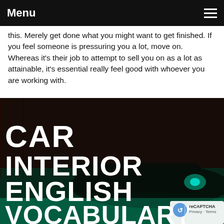Menu
this. Merely get done what you might want to get finished. If you feel someone is pressuring you a lot, move on. Whereas it's their job to attempt to sell you on as a lot as attainable, it's essential really feel good with whoever you are working with.
[Figure (photo): Vintage classic car parked in front of a barn with green/teal color toning. Large white bold text overlaid reads: CAR INTERIOR ENGLISH VOCABULARY. A small reCAPTCHA badge is visible in the bottom right corner with 'Privacy · Terms' text.]